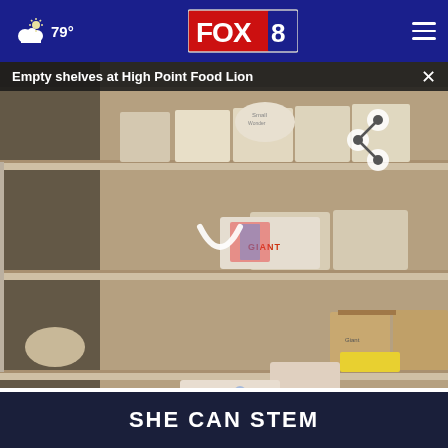79° FOX 8
Empty shelves at High Point Food Lion
[Figure (photo): Photo of nearly empty grocery store shelves at High Point Food Lion, with a few remaining bread loaves and boxes scattered on otherwise bare shelves. A share icon is visible in the top-right of the image. A loading/navigation spinner is overlaid on the photo.]
No, but I probably will someday
No, and I would really prefer not to
SHE CAN STEM